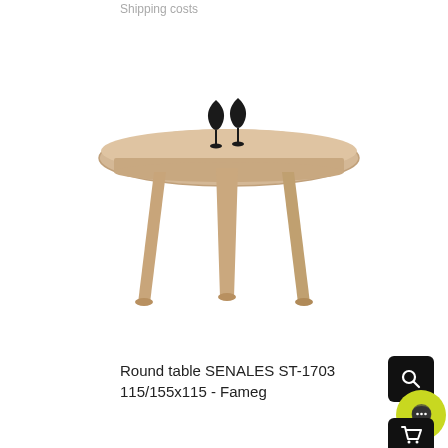Shipping costs
[Figure (photo): A round wooden dining table (SENALES ST-1703) with light oak finish, oval top surface, tapered legs, and two black wine glasses placed on top. The table is photographed against a white background.]
Round table SENALES ST-1703 115/155x115 - Fameg